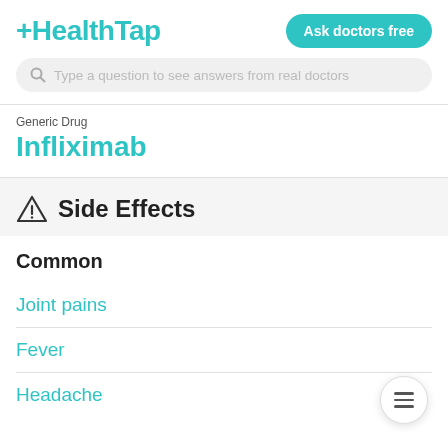HealthTap — Ask doctors free
Type a question to see answers from real doctors
Generic Drug
Infliximab
Side Effects
Common
Joint pains
Fever
Headache